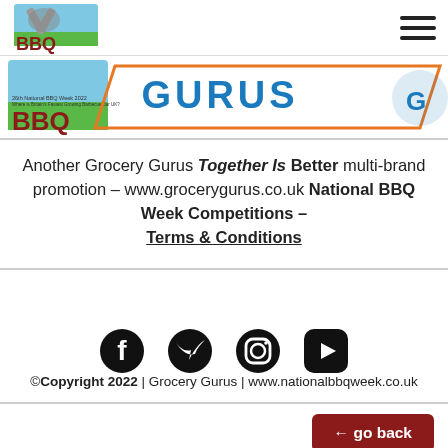BBQ National BBQ Week 2022 Logo | Navigation menu
[Figure (logo): BBQ Grocery Gurus banner image with orange border, showing 'GURUS' text and BBQ logo for 26th National BBQ Week 2022]
Another Grocery Gurus Together Is Better multi-brand promotion – www.grocerygurus.co.uk National BBQ Week Competitions – Terms & Conditions
[Figure (infographic): Social media icons: Facebook, Twitter, Instagram, YouTube]
©Copyright 2022 | Grocery Gurus | www.nationalbbqweek.co.uk